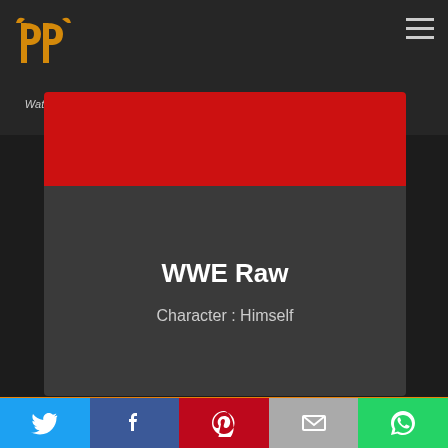[Figure (logo): PP Watchers logo - golden/orange stylized PP icon with 'Watchers' text below]
[Figure (screenshot): Red banner image placeholder area]
WWE Raw
Character : Himself
[Figure (infographic): Carousel navigation with left arrow, two dots (orange active, grey inactive), right arrow]
[Figure (infographic): Social share bar with Twitter (blue), Facebook (blue), Pinterest (red), Email (grey), WhatsApp (green) icons]